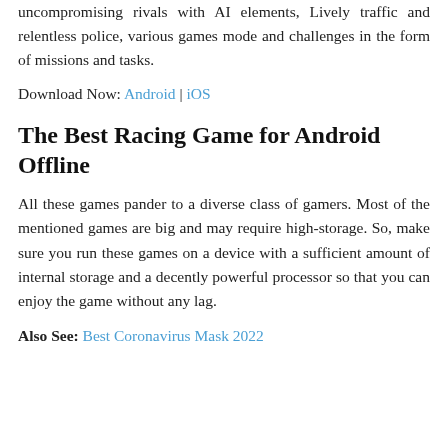uncompromising rivals with AI elements, Lively traffic and relentless police, various games mode and challenges in the form of missions and tasks.
Download Now: Android | iOS
The Best Racing Game for Android Offline
All these games pander to a diverse class of gamers. Most of the mentioned games are big and may require high-storage. So, make sure you run these games on a device with a sufficient amount of internal storage and a decently powerful processor so that you can enjoy the game without any lag.
Also See: Best Coronavirus Mask 2022